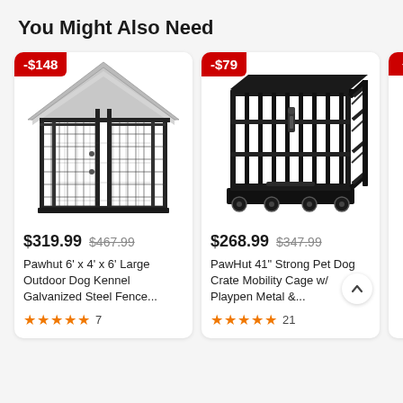You Might Also Need
[Figure (photo): Pawhut 6 x 4 x 6 large outdoor dog kennel with gray roof cover and black galvanized steel wire fence panels]
[Figure (photo): PawHut 41 inch heavy duty dog crate cage with wheels and slide-out tray]
$319.99  $467.99
Pawhut 6' x 4' x 6' Large Outdoor Dog Kennel Galvanized Steel Fence...
★★★★★ 7
$268.99  $347.99
PawHut 41" Strong Pet Dog Crate Mobility Cage w/ Playpen Metal &...
★★★★★ 21